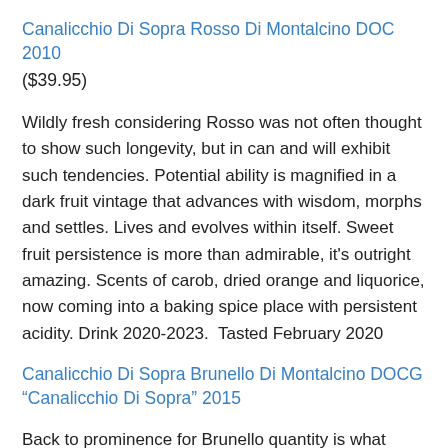Canalicchio Di Sopra Rosso Di Montalcino DOC 2010
($39.95)
Wildly fresh considering Rosso was not often thought to show such longevity, but in can and will exhibit such tendencies. Potential ability is magnified in a dark fruit vintage that advances with wisdom, morphs and settles. Lives and evolves within itself. Sweet fruit persistence is more than admirable, it's outright amazing. Scents of carob, dried orange and liquorice, now coming into a baking spice place with persistent acidity. Drink 2020-2023.  Tasted February 2020
Canalicchio Di Sopra Brunello Di Montalcino DOCG “Canalicchio Di Sopra” 2015
Back to prominence for Brunello quantity is what 2015 does for business while delivering great quality without